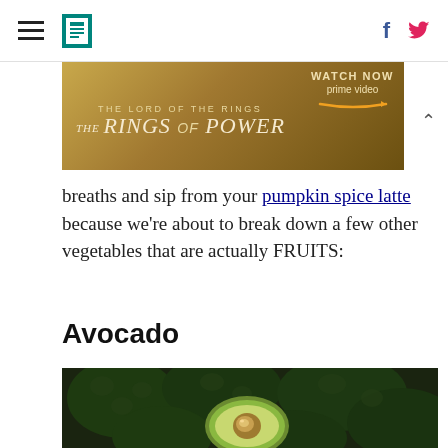HuffPost navigation with hamburger menu and social icons (Facebook, Twitter)
[Figure (screenshot): Advertisement banner for 'The Lord of the Rings: The Rings of Power' on Prime Video with gold background. Text reads: THE LORD OF THE RINGS, THE RINGS OF POWER, WATCH NOW, prime video]
breaths and sip from your pumpkin spice latte because we're about to break down a few other vegetables that are actually FRUITS:
Avocado
[Figure (photo): Dark green avocados piled together with one avocado cut in half showing the pit and light green flesh inside]